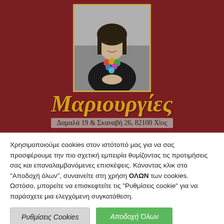[Figure (illustration): A stylized illustration of the Mona Lisa with colorful necklace beads, in a gold-bordered frame, on a dark red background. Below the frame, the store name 'Μαριουργίες' is written in golden italic script, followed by the address text.]
Μαριουργίες
Δαμαλά 19 & Σκαναβή 26, 82100 Χίος
Χρησιμοποιούμε cookies στον ιστότοπό μας για να σας προσφέρουμε την πιο σχετική εμπειρία θυμίζοντας τις προτιμήσεις σας και επαναλαμβανόμενες επισκέψεις. Κάνοντας κλικ στο "Αποδοχή όλων", συναινείτε στη χρήση ΟΛΩΝ των cookies. Ωστόσο, μπορείτε να επισκεφτείτε τις "Ρυθμίσεις cookie" για να παράσχετε μια ελεγχόμενη συγκατάθεση.
Ρυθμίσεις Cookies
Αποδοχή Όλων